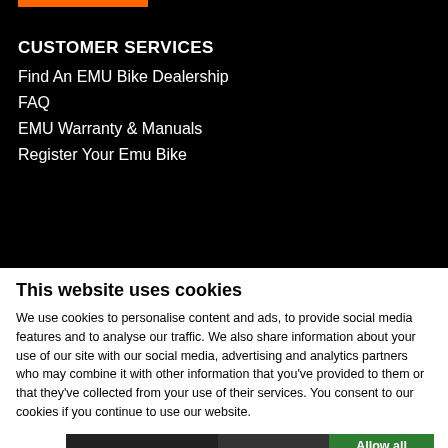CUSTOMER SERVICES
Find An EMU Bike Dealership
FAQ
EMU Warranty & Manuals
Register Your Emu Bike
This website uses cookies
We use cookies to personalise content and ads, to provide social media features and to analyse our traffic. We also share information about your use of our site with our social media, advertising and analytics partners who may combine it with other information that you've provided to them or that they've collected from your use of their services. You consent to our cookies if you continue to use our website.
Use necessary cookies only | Allow selection | Allow all cookies
Necessary  Preferences  Statistics  Marketing  Show details